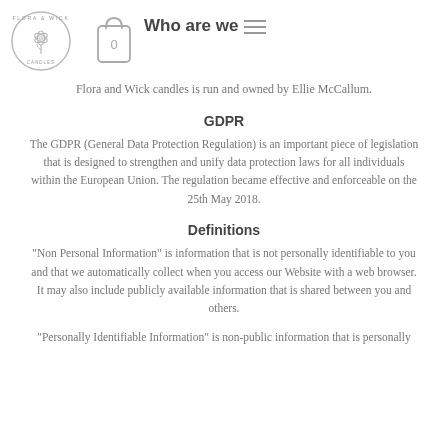[Figure (logo): Flora & Wick circular logo with flower illustration]
[Figure (illustration): Shopping bag icon with '0' label]
Who are we
Flora and Wick candles is run and owned by Ellie McCallum.
GDPR
The GDPR (General Data Protection Regulation) is an important piece of legislation that is designed to strengthen and unify data protection laws for all individuals within the European Union. The regulation became effective and enforceable on the 25th May 2018.
Definitions
"Non Personal Information" is information that is not personally identifiable to you and that we automatically collect when you access our Website with a web browser. It may also include publicly available information that is shared between you and others.
"Personally Identifiable Information" is non-public information that is personally